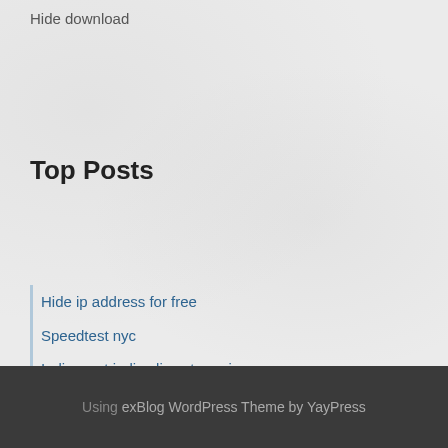Hide download
Top Posts
Hide ip address for free
Speedtest nyc
India west indies live streaming
How long can i deactivate my facebook account
Can you purchase hbo go without cable
Using exBlog WordPress Theme by YayPress